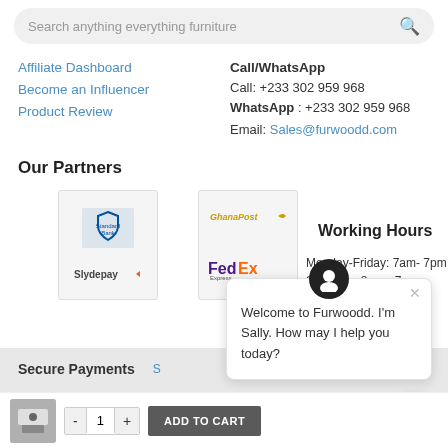Search anything everything furniture
Affiliate Dashboard
Become an Influencer
Product Review
Call/WhatsApp
Call: +233 302 959 968
WhatsApp : +233 302 959 968
Email: Sales@furwoodd.com
Our Partners
[Figure (logo): Standard Bank and Slydepay logos]
[Figure (logo): GhanaPost and FedEx logos]
Working Hours
Monday-Friday: 7am- 7pm
Saturday: 8am - 7pm
Sunday: 3pm- 7pm
Secure Payments
© 2022 Furwoodd
Welcome to Furwoodd. I'm Sally. How may I help you today?
- 1 + ADD TO CART